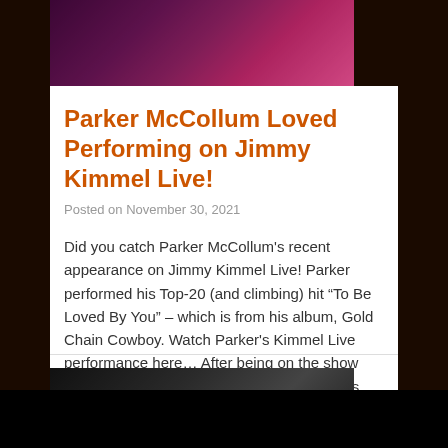[Figure (photo): Concert photo showing musicians on stage with pink/purple stage lighting]
Parker McCollum Loved Performing on Jimmy Kimmel Live!
Posted on November 30, 2021
Did you catch Parker McCollum's recent appearance on Jimmy Kimmel Live! Parker performed his Top-20 (and climbing) hit “To Be Loved By You” – which is from his album, Gold Chain Cowboy. Watch Parker's Kimmel Live performance here… After being on the show Parker shared, “Performing on late night has been on my bucket list…… MORE
[Figure (photo): Dark concert or music video still at bottom of page]